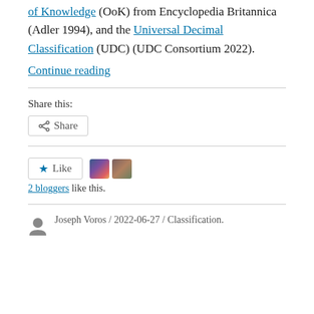of Knowledge (OoK) from Encyclopedia Britannica (Adler 1994), and the Universal Decimal Classification (UDC) (UDC Consortium 2022).
Continue reading
Share this:
[Figure (other): Share button with share icon]
[Figure (other): Like button with star icon and two blogger avatar thumbnails]
2 bloggers like this.
Joseph Voros / 2022-06-27 / Classification.